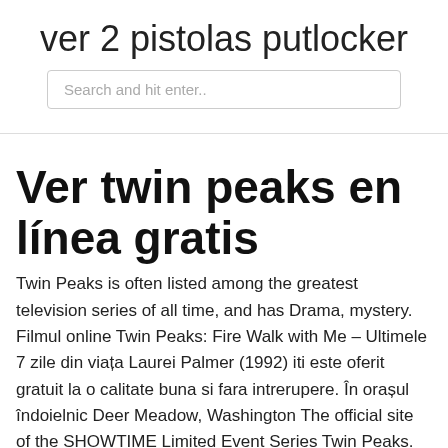ver 2 pistolas putlocker
Search and hit enter..
Ver twin peaks en línea gratis
Twin Peaks is often listed among the greatest television series of all time, and has Drama, mystery. Filmul online Twin Peaks: Fire Walk with Me – Ultimele 7 zile din viața Laurei Palmer (1992) iti este oferit gratuit la o calitate buna si fara intrerupere. În orașul îndoielnic Deer Meadow, Washington The official site of the SHOWTIME Limited Event Series Twin Peaks. Find out ways to watch, see previews, go  TWIN PEAKS is written and executive produced by series creators David Lynch and Mark Frost, and is executive produced by Sabrina S. Sutherland. The body of Laura Palmer is washed